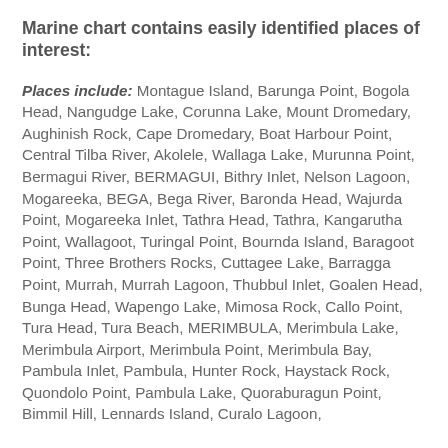Marine chart contains easily identified places of interest:
Places include: Montague Island, Barunga Point, Bogola Head, Nangudge Lake, Corunna Lake, Mount Dromedary, Aughinish Rock, Cape Dromedary, Boat Harbour Point, Central Tilba River, Akolele, Wallaga Lake, Murunna Point, Bermagui River, BERMAGUI, Bithry Inlet, Nelson Lagoon, Mogareeka, BEGA, Bega River, Baronda Head, Wajurda Point, Mogareeka Inlet, Tathra Head, Tathra, Kangarutha Point, Wallagoot, Turingal Point, Bournda Island, Baragoot Point, Three Brothers Rocks, Cuttagee Lake, Barragga Point, Murrah, Murrah Lagoon, Thubbul Inlet, Goalen Head, Bunga Head, Wapengo Lake, Mimosa Rock, Callo Point, Tura Head, Tura Beach, MERIMBULA, Merimbula Lake, Merimbula Airport, Merimbula Point, Merimbula Bay, Pambula Inlet, Pambula, Hunter Rock, Haystack Rock, Quondolo Point, Pambula Lake, Quoraburagun Point, Bimmil Hill, Lennards Island, Curalo Lagoon,